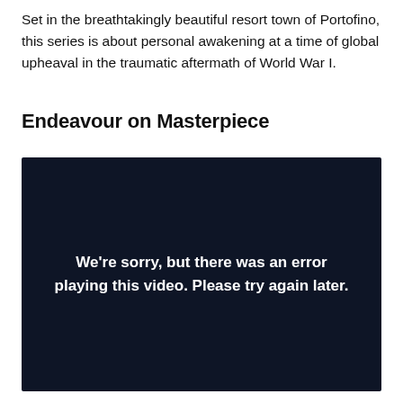Set in the breathtakingly beautiful resort town of Portofino, this series is about personal awakening at a time of global upheaval in the traumatic aftermath of World War I.
Endeavour on Masterpiece
[Figure (screenshot): Dark navy video player showing an error message: 'We're sorry, but there was an error playing this video. Please try again later.']